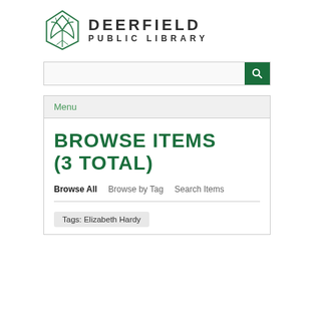[Figure (logo): Deerfield Public Library logo with stylized open book/leaf SVG icon and text DEERFIELD PUBLIC LIBRARY]
[Figure (screenshot): Search input bar with green search button icon]
Menu
BROWSE ITEMS (3 TOTAL)
Browse All   Browse by Tag   Search Items
Tags: Elizabeth Hardy